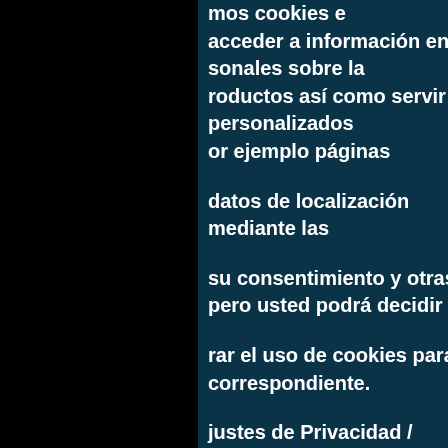mos cookies e acceder a información en sonales sobre la roductos así como servir personalizados or ejemplo páginas
datos de localización mediante las
su consentimiento y otras pero usted podrá decidir si
rar el uso de cookies para correspondiente.
justes de Privacidad / ies
AR